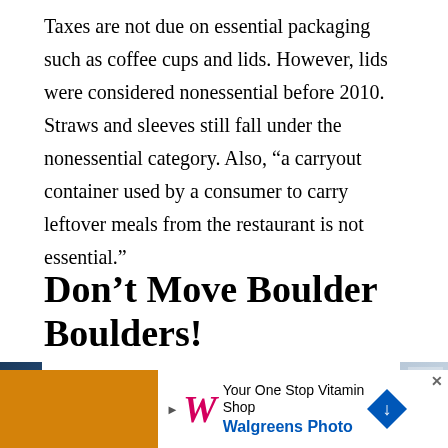Taxes are not due on essential packaging such as coffee cups and lids. However, lids were considered nonessential before 2010. Straws and sleeves still fall under the nonessential category. Also, “a carryout container used by a consumer to carry leftover meals from the restaurant is not essential.”
Don’t Move Boulder Boulders!
In Boulder, you’re not allowed to move rocks or boulders on public property unless you’re a city employee doing it as part of your job.
[Figure (photo): Left edge: partial photo strip showing blue/dark building. Right edge: partial photo strip showing grey/light scene. Navigation arrows on sides.]